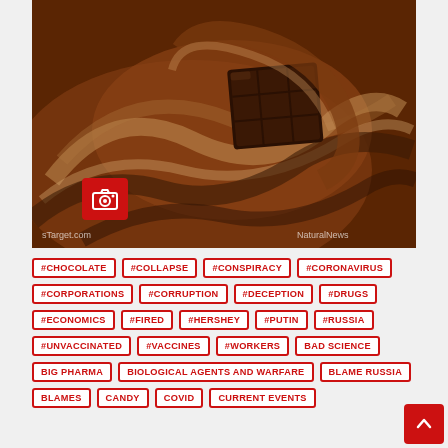[Figure (photo): Close-up photo of melted chocolate swirls with a solid chocolate square piece in the center, warm brown tones. Watermarks: 'sTarget.com' bottom-left and 'NaturalNews' bottom-right. A red camera icon overlay on the lower-left of the image.]
#CHOCOLATE  #COLLAPSE  #CONSPIRACY  #CORONAVIRUS
#CORPORATIONS  #CORRUPTION  #DECEPTION  #DRUGS
#ECONOMICS  #FIRED  #HERSHEY  #PUTIN  #RUSSIA
#UNVACCINATED  #VACCINES  #WORKERS  BAD SCIENCE
BIG PHARMA  BIOLOGICAL AGENTS AND WARFARE  BLAME RUSSIA
BLAMES  CANDY  COVID  CURRENT EVENTS